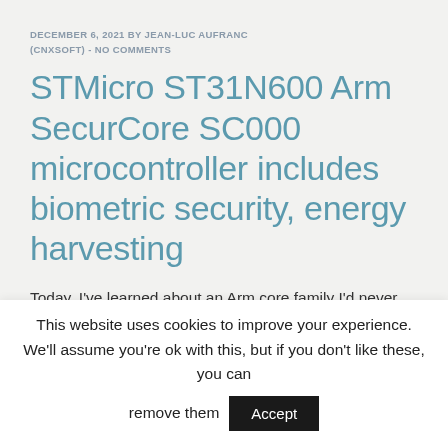DECEMBER 6, 2021 BY JEAN-LUC AUFRANC (CNXSOFT) - NO COMMENTS
STMicro ST31N600 Arm SecurCore SC000 microcontroller includes biometric security, energy harvesting
Today, I've learned about an Arm core family I'd never heard about: the Arm SecurCore family for smartcard and embedded security applications. The Arm SecurCore SC000 (Cortex-M0 based) and Arm SecurCore SC300
This website uses cookies to improve your experience. We'll assume you're ok with this, but if you don't like these, you can remove them